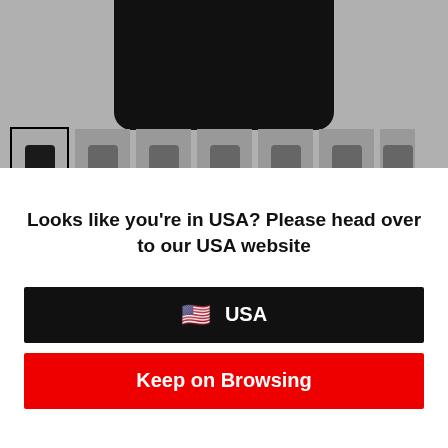[Figure (photo): Top portion of a black t-shirt product photo on gray background with thumbnail strip showing multiple model photos]
Looks like you're in USA? Please head over to our USA website
[Figure (infographic): Black button with US flag emoji and text USA]
[Figure (infographic): Red button with text Keep on Browsing]
Black | Navy